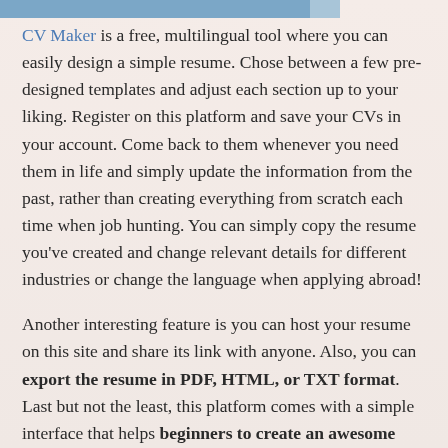CV Maker is a free, multilingual tool where you can easily design a simple resume. Chose between a few pre-designed templates and adjust each section up to your liking. Register on this platform and save your CVs in your account. Come back to them whenever you need them in life and simply update the information from the past, rather than creating everything from scratch each time when job hunting. You can simply copy the resume you've created and change relevant details for different industries or change the language when applying abroad!
Another interesting feature is you can host your resume on this site and share its link with anyone. Also, you can export the resume in PDF, HTML, or TXT format. Last but not the least, this platform comes with a simple interface that helps beginners to create an awesome resume seamlessly.